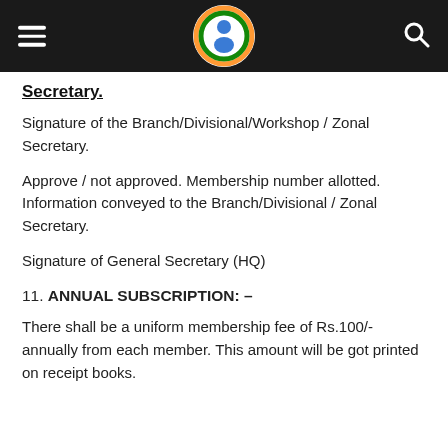Header bar with hamburger menu, organization logo, and search icon
Secretary.
Signature of the Branch/Divisional/Workshop / Zonal Secretary.
Approve / not approved. Membership number allotted. Information conveyed to the Branch/Divisional / Zonal Secretary.
Signature of General Secretary (HQ)
11. ANNUAL SUBSCRIPTION: –
There shall be a uniform membership fee of Rs.100/- annually from each member. This amount will be got printed on receipt books.